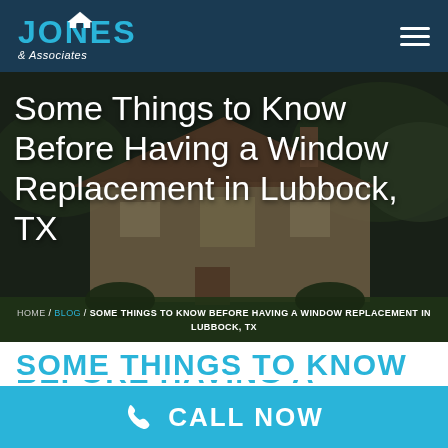[Figure (logo): Jones & Associates logo with house icon on dark navy background]
[Figure (photo): Hero background photo of a brick house with trees, overlaid with dark semi-transparent gradient]
Some Things to Know Before Having a Window Replacement in Lubbock, TX
HOME / BLOG / SOME THINGS TO KNOW BEFORE HAVING A WINDOW REPLACEMENT IN LUBBOCK, TX
SOME THINGS TO KNOW
CALL NOW